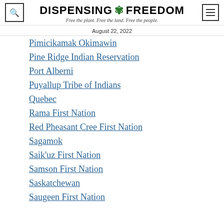DISPENSING FREEDOM — Free the plant. Free the land. Free the people.
August 22, 2022
Pimicikamak Okimawin
Pine Ridge Indian Reservation
Port Alberni
Puyallup Tribe of Indians
Quebec
Rama First Nation
Red Pheasant Cree First Nation
Sagamok
Saik'uz First Nation
Samson First Nation
Saskatchewan
Saugeen First Nation